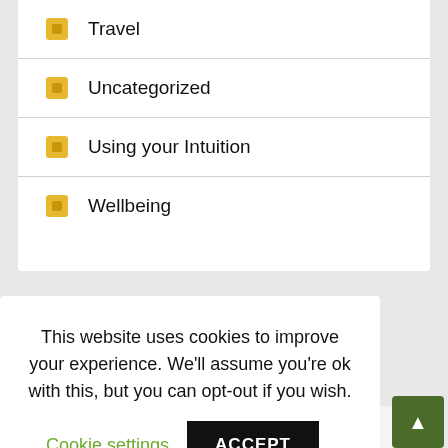Travel
Uncategorized
Using your Intuition
Wellbeing
This website uses cookies to improve your experience. We'll assume you're ok with this, but you can opt-out if you wish. Cookie settings ACCEPT
Recent Posts